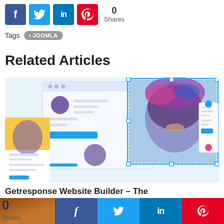[Figure (infographic): Social share buttons row: Facebook (blue), Twitter (light blue), LinkedIn (dark blue), Pinterest (red), with share count showing 0 Shares]
Tags  • JOOMLA
Related Articles
[Figure (screenshot): Website builder interface screenshot showing a profile/editor tool with a smiling woman wearing a colorful head wrap]
Getresponse Website Builder – The Best Website Builder
July 29, 2021
[Figure (infographic): Bottom social share bar with 0 Shares count, and social buttons: Facebook, Twitter, LinkedIn, Pinterest]